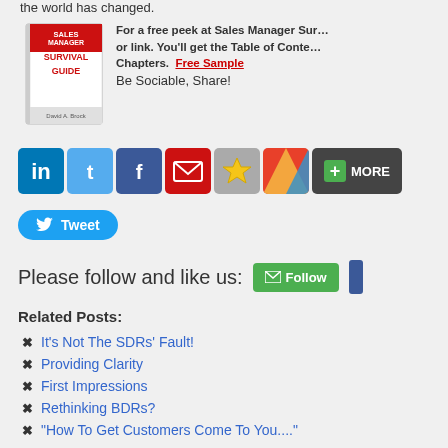the world has changed.
[Figure (illustration): Book cover of 'Sales Manager Survival Guide']
For a free peek at Sales Manager Sur... or link. You'll get the Table of Contents and Sample Chapters. Free Sample
Be Sociable, Share!
[Figure (infographic): Social sharing icons: LinkedIn, Twitter, Facebook, Email, Star, Klout, +MORE]
[Figure (infographic): Tweet button]
Please follow and like us:
[Figure (infographic): Follow and Facebook buttons]
Related Posts:
It's Not The SDRs' Fault!
Providing Clarity
First Impressions
Rethinking BDRs?
"How To Get Customers Come To You...."
Share this: